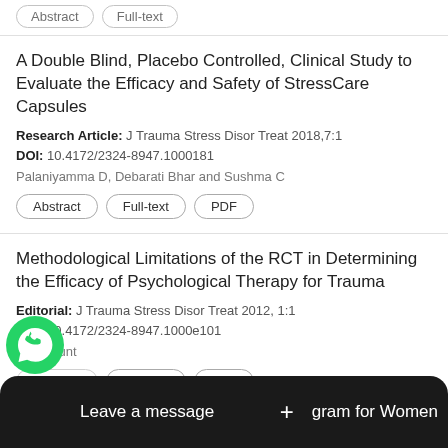[buttons at top, partially visible]
A Double Blind, Placebo Controlled, Clinical Study to Evaluate the Efficacy and Safety of StressCare Capsules
Research Article: J Trauma Stress Disor Treat 2018,7:1
DOI: 10.4172/2324-8947.1000181
Palaniyamma D, Debarati Bhar and Sushma C
Abstract | Full-text | PDF
Methodological Limitations of the RCT in Determining the Efficacy of Psychological Therapy for Trauma
Editorial: J Trauma Stress Disor Treat 2012, 1:1
DOI: 10.4172/2324-8947.1000e101
Nigel Hunt
Abstract | Full-text | PDF
Eva...gram for Women
Vict...
[Figure (screenshot): WhatsApp chat bubble icon (green circle with phone handset)]
Leave a message +